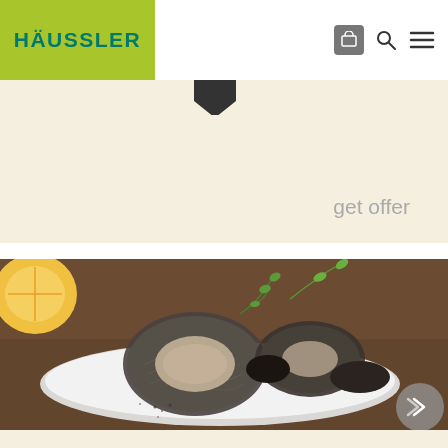[Figure (logo): Häussler logo: green square background with teal bold text reading HÄUSSLER]
[Figure (screenshot): Website navigation bar with cart icon, search icon, and hamburger menu icon on white background]
get offer
[Figure (photo): Food photo: rolled herring fillets on a white plate, garnished with fresh thyme sprigs, with lemon half in background and wooden table surface visible]